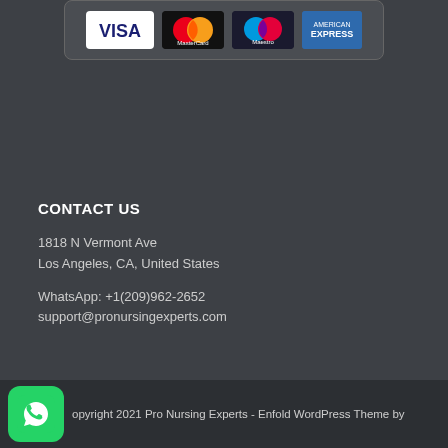[Figure (other): Payment card icons: VISA, MasterCard, Maestro, American Express displayed in a rounded rectangle box]
CONTACT US
1818 N Vermont Ave
Los Angeles, CA, United States
WhatsApp: +1(209)962-2652
support@pronursingexperts.com
Copyright 2021 Pro Nursing Experts - Enfold WordPress Theme by